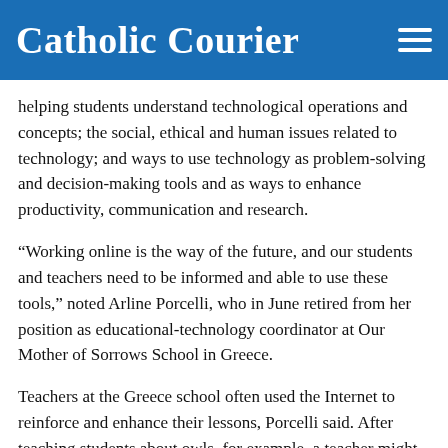Catholic Courier
helping students understand technological operations and concepts; the social, ethical and human issues related to technology; and ways to use technology as problem-solving and decision-making tools and as ways to enhance productivity, communication and research.
“Working online is the way of the future, and our students and teachers need to be informed and able to use these tools,” noted Arline Porcelli, who in June retired from her position as educational-technology coordinator at Our Mother of Sorrows School in Greece.
Teachers at the Greece school often used the Internet to reinforce and enhance their lessons, Porcelli said. After teaching students about owls, for example, a teacher might show the students an online video about owls or play for them an audio clip of an owl’s hoot. The Internet puts the most up-to-date resources at teachers’ and students’ fingertips, while helping students gain the technological skills